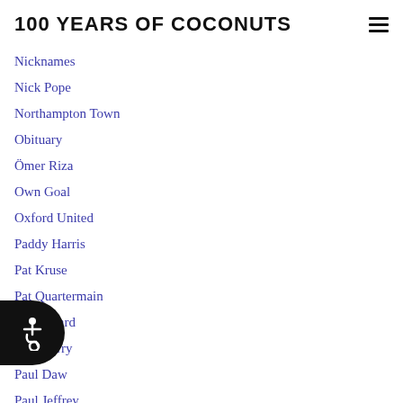100 YEARS OF COCONUTS
Nicknames
Nick Pope
Northampton Town
Obituary
Ömer Riza
Own Goal
Oxford United
Paddy Harris
Pat Kruse
Pat Quartermain
Pat Saward
Paul Barry
Paul Daw
Paul Jeffrey
Paul Raynor
Paul Wanless